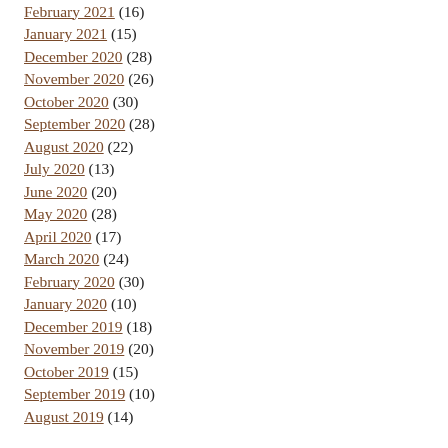February 2021 (16)
January 2021 (15)
December 2020 (28)
November 2020 (26)
October 2020 (30)
September 2020 (28)
August 2020 (22)
July 2020 (13)
June 2020 (20)
May 2020 (28)
April 2020 (17)
March 2020 (24)
February 2020 (30)
January 2020 (10)
December 2019 (18)
November 2019 (20)
October 2019 (15)
September 2019 (10)
August 2019 (14)